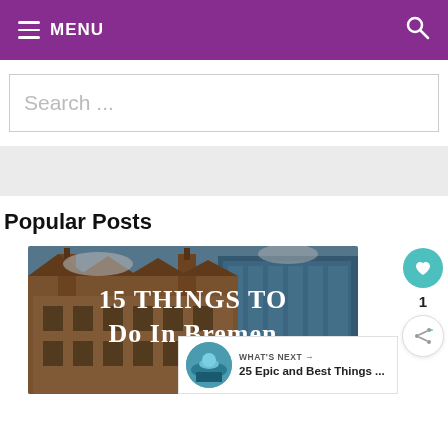≡ MENU
Search ...
Popular Posts
[Figure (photo): Photo of Bremen city hall with text overlay '15 Things To Do In Bremen']
WHAT'S NEXT → 25 Epic and Best Things ...